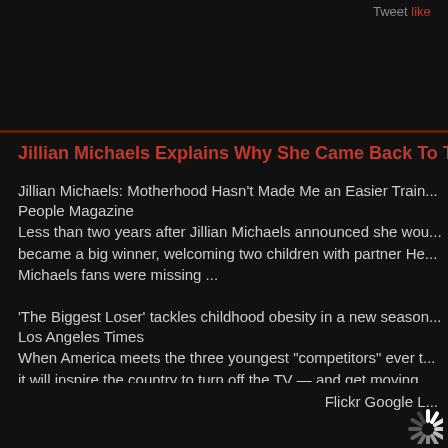Tweet like ...
Jillian Michaels Explains Why She Came Back To The ...
Jillian Michaels: Motherhood Hasn't Made Me an Easier Train...
People Magazine
Less than two years after Jillian Michaels announced she wou... became a big winner, welcoming two children with partner He... Michaels fans were missing ...
'The Biggest Loser' tackles childhood obesity in a new season...
Los Angeles Times
When America meets the three youngest "competitors" ever t... it will inspire the country to turn off the TV — and get moving. ... Sunday with its biggest ...
Flickr Google L...